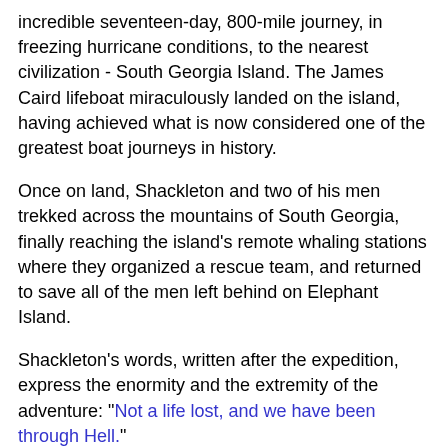incredible seventeen-day, 800-mile journey, in freezing hurricane conditions, to the nearest civilization - South Georgia Island. The James Caird lifeboat miraculously landed on the island, having achieved what is now considered one of the greatest boat journeys in history.
Once on land, Shackleton and two of his men trekked across the mountains of South Georgia, finally reaching the island's remote whaling stations where they organized a rescue team, and returned to save all of the men left behind on Elephant Island.
Shackleton's words, written after the expedition, express the enormity and the extremity of the adventure: "Not a life lost, and we have been through Hell."
In comparing Ernest Gordon's survival in the jungles of Thailand and Shackelton's survival in the antarctic region I see many similar themes: